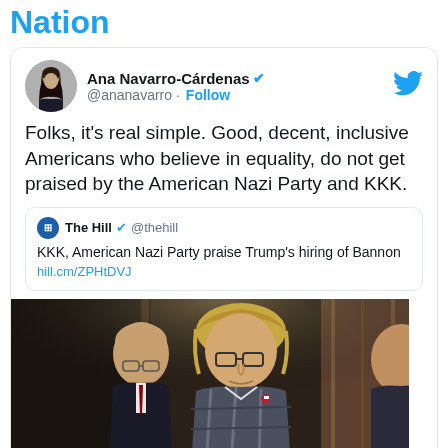Nation
[Figure (screenshot): Screenshot of a tweet by Ana Navarro-Cárdenas (@ananavarro) with text: 'Folks, it's real simple. Good, decent, inclusive Americans who believe in equality, do not get praised by the American Nazi Party and KKK.' quoting a tweet from The Hill (@thehill): 'KKK, American Nazi Party praise Trump's hiring of Bannon hill.cm/ZPHtDVJ' with a photo of Steve Bannon.]